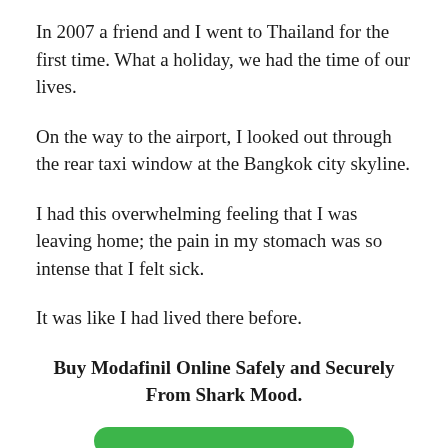In 2007 a friend and I went to Thailand for the first time. What a holiday, we had the time of our lives.
On the way to the airport, I looked out through the rear taxi window at the Bangkok city skyline.
I had this overwhelming feeling that I was leaving home; the pain in my stomach was so intense that I felt sick.
It was like I had lived there before.
Buy Modafinil Online Safely and Securely From Shark Mood.
[Figure (other): Green rounded button (partially visible at bottom)]